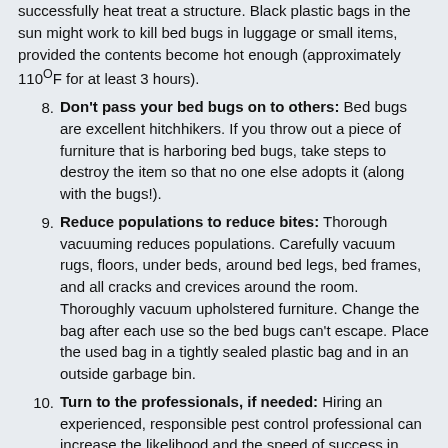successfully heat treat a structure. Black plastic bags in the sun might work to kill bed bugs in luggage or small items, provided the contents become hot enough (approximately 110°F for at least 3 hours).
8. Don't pass your bed bugs on to others: Bed bugs are excellent hitchhikers. If you throw out a piece of furniture that is harboring bed bugs, take steps to destroy the item so that no one else adopts it (along with the bugs!).
9. Reduce populations to reduce bites: Thorough vacuuming reduces populations. Carefully vacuum rugs, floors, under beds, around bed legs, bed frames, and all cracks and crevices around the room. Thoroughly vacuum upholstered furniture. Change the bag after each use so the bed bugs can't escape. Place the used bag in a tightly sealed plastic bag and in an outside garbage bin.
10. Turn to the professionals, if needed: Hiring an experienced, responsible pest control professional can increase the likelihood and the speed of success in eliminating bed bugs from your home. If you hire an